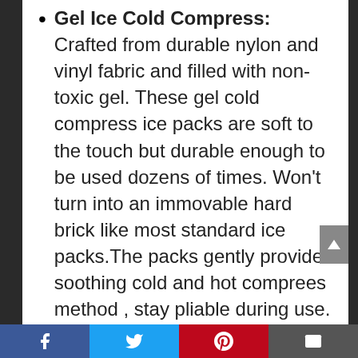Gel Ice Cold Compress: Crafted from durable nylon and vinyl fabric and filled with non-toxic gel. These gel cold compress ice packs are soft to the touch but durable enough to be used dozens of times. Won't turn into an immovable hard brick like most standard ice packs.The packs gently provides soothing cold and hot comprees method , stay pliable during use.
Use Both Hot And Cold: Our packs can be used both for both cold and hot comprees method, unlike competing packs that can only be